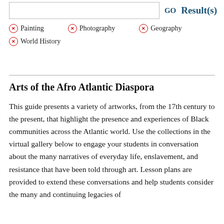GO  Result(s)
× Painting   × Photography   × Geography
× World History
Arts of the Afro Atlantic Diaspora
This guide presents a variety of artworks, from the 17th century to the present, that highlight the presence and experiences of Black communities across the Atlantic world. Use the collections in the virtual gallery below to engage your students in conversation about the many narratives of everyday life, enslavement, and resistance that have been told through art. Lesson plans are provided to extend these conversations and help students consider the many and continuing legacies of